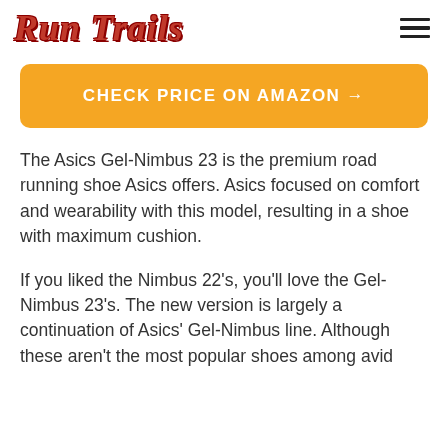Run Trails
CHECK PRICE ON AMAZON →
The Asics Gel-Nimbus 23 is the premium road running shoe Asics offers. Asics focused on comfort and wearability with this model, resulting in a shoe with maximum cushion.
If you liked the Nimbus 22's, you'll love the Gel-Nimbus 23's. The new version is largely a continuation of Asics' Gel-Nimbus line. Although these aren't the most popular shoes among avid